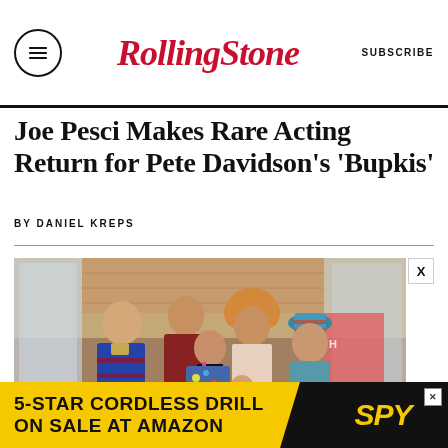Rolling Stone  SUBSCRIBE
Joe Pesci Makes Rare Acting Return for Pete Davidson’s ‘Bupkis’
BY DANIEL KREPS
[Figure (photo): Group of five people (actors) standing together inside a store setting, appearing surprised or concerned. Includes a teenage boy in a blue striped shirt, a man in red, a woman with curly hair, a girl in a denim jacket with a choker necklace, a woman in a teal sweater with a striped hat, and a small toddler in front.]
[Figure (other): Advertisement banner: '5-STAR CORDLESS DRILL ON SALE AT AMAZON' with SPY logo on black background, yellow background ad.]